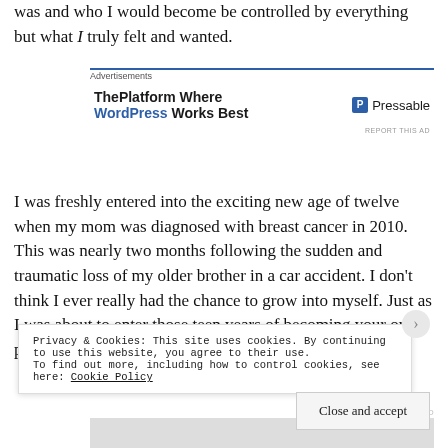was and who I would become be controlled by everything but what I truly felt and wanted.
[Figure (other): WordPress/Pressable advertisement banner with text 'ThePlatform Where WordPress Works Best' and Pressable logo]
I was freshly entered into the exciting new age of twelve when my mom was diagnosed with breast cancer in 2010. This was nearly two months following the sudden and traumatic loss of my older brother in a car accident. I don't think I ever really had the chance to grow into myself. Just as I was about to enter those teen years of becoming your own person and beginning to rebel a little, hungering for
Privacy & Cookies: This site uses cookies. By continuing to use this website, you agree to their use. To find out more, including how to control cookies, see here: Cookie Policy
Close and accept